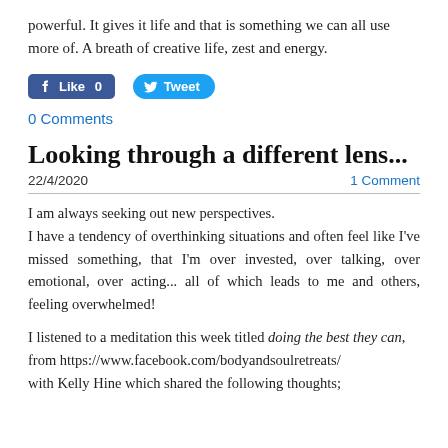powerful. It gives it life and that is something we can all use more of. A breath of creative life, zest and energy.
[Figure (other): Facebook Like button showing 'Like 0' and Twitter Tweet button]
0 Comments
Looking through a different lens...
22/4/2020   1 Comment
I am always seeking out new perspectives.
I have a tendency of overthinking situations and often feel like I've missed something, that I'm over invested, over talking, over emotional, over acting... all of which leads to me and others, feeling overwhelmed!
I listened to a meditation this week titled doing the best they can,
from https://www.facebook.com/bodyandsoulretreats/
with Kelly Hine which shared the following thoughts;